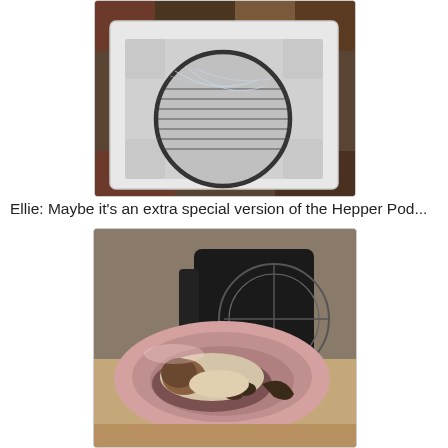[Figure (photo): Top-down view of a styrofoam box packaging containing a circular metal grate wrapped in plastic wrap, sitting on a patterned rug.]
Ellie: Maybe it’s an extra special version of the Hepper Pod...
[Figure (photo): A Siamese cat curled up inside a pink/rose-colored round pet bed (Hepper Pod), viewed from above, with a wire stand visible in the background.]